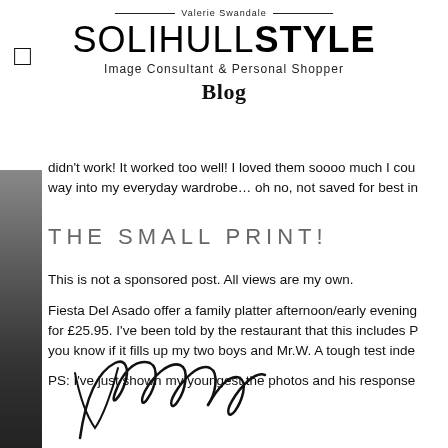Valerie Swandale — SOLIHULL STYLE — Image Consultant & Personal Shopper — Blog
didn't work! It worked too well! I loved them soooo much I cou... way into my everyday wardrobe… oh no, not saved for best in...
THE SMALL PRINT!
This is not a sponsored post. All views are my own.
Fiesta Del Asado offer a family platter afternoon/early evening... for £25.95. I've been told by the restaurant that this includes P... you know if it fills up my two boys and Mr.W. A tough test inde...
PS: I've just shown my youngest the photos and his response...
[Figure (illustration): Handwritten cursive signature of Valerie]